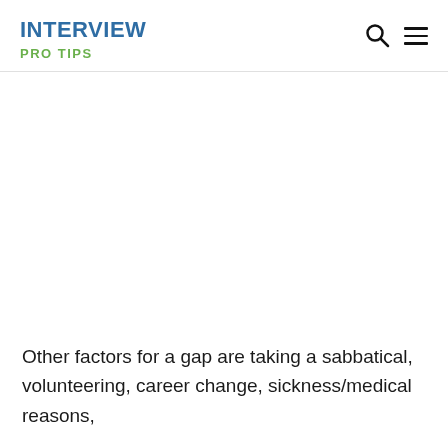INTERVIEW
PRO TIPS
Other factors for a gap are taking a sabbatical, volunteering, career change, sickness/medical reasons,